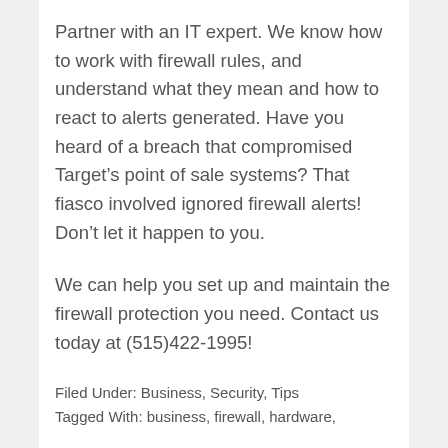Partner with an IT expert. We know how to work with firewall rules, and understand what they mean and how to react to alerts generated. Have you heard of a breach that compromised Target’s point of sale systems? That fiasco involved ignored firewall alerts! Don’t let it happen to you.
We can help you set up and maintain the firewall protection you need. Contact us today at (515)422-1995!
Filed Under: Business, Security, Tips
Tagged With: business, firewall, hardware,